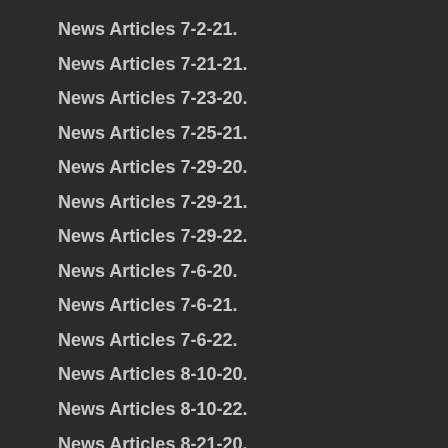News Articles 7-2-21.
News Articles 7-21-21.
News Articles 7-23-20.
News Articles 7-25-21.
News Articles 7-29-20.
News Articles 7-29-21.
News Articles 7-29-22.
News Articles 7-6-20.
News Articles 7-6-21.
News Articles 7-6-22.
News Articles 8-10-20.
News Articles 8-10-22.
News Articles 8-21-20.
News Articles 8-26-20.
News Articles 8-30-20.
News Articles 8-4-20.
News Articles 9-13-20.
News Articles 9-16-20.
News Articles 9-23-20.
News Articles 9-28-20.
News Articles 9-30-19
News Articles 9-8-20.